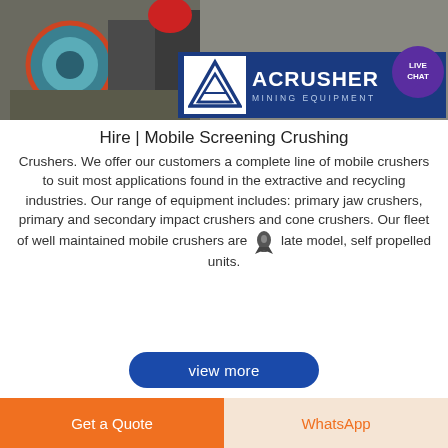[Figure (photo): Industrial mining crusher machinery photo with green/teal motor component visible, grey stone background]
[Figure (logo): ACRUSHER Mining Equipment logo — white triangle on white background beside blue banner with ACRUSHER text and MINING EQUIPMENT subtitle]
Hire | Mobile Screening Crushing
Crushers. We offer our customers a complete line of mobile crushers to suit most applications found in the extractive and recycling industries. Our range of equipment includes: primary jaw crushers, primary and secondary impact crushers and cone crushers. Our fleet of well maintained mobile crushers are late model, self propelled units.
view more
Get a Quote
WhatsApp